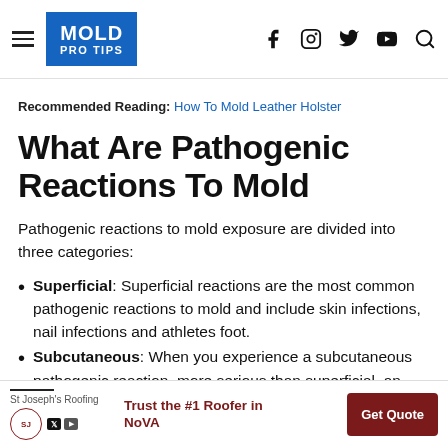MOLD PRO TIPS
Recommended Reading: How To Mold Leather Holster
What Are Pathogenic Reactions To Mold
Pathogenic reactions to mold exposure are divided into three categories:
Superficial: Superficial reactions are the most common pathogenic reactions to mold and include skin infections, nail infections and athletes foot.
Subcutaneous: When you experience a subcutaneous pathogenic reaction, more serious than superficial, an
[Figure (other): Advertisement banner for St Joseph's Roofing with text 'Trust the #1 Roofer in NoVA' and a 'Get Quote' button]